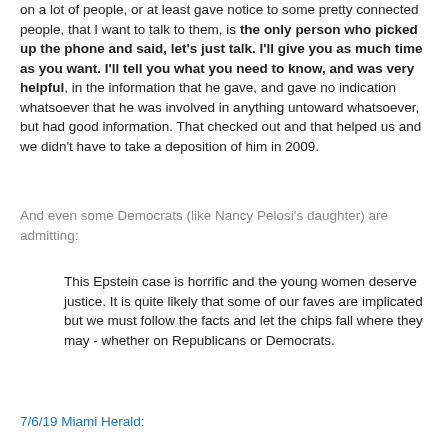on a lot of people, or at least gave notice to some pretty connected people, that I want to talk to them, is the only person who picked up the phone and said, let's just talk.  I'll give you as much time as you want.  I'll tell you what you need to know, and was very helpful, in the information that he gave, and gave no indication whatsoever that he was involved in anything untoward whatsoever, but had good information. That checked out and that helped us and we didn't have to take a deposition of him in 2009.
And even some Democrats (like Nancy Pelosi's daughter) are admitting:
This Epstein case is horrific and the young women deserve justice. It is quite likely that some of our faves are implicated but we must follow the facts and let the chips fall where they may - whether on Republicans or Democrats.
7/6/19 Miami Herald: